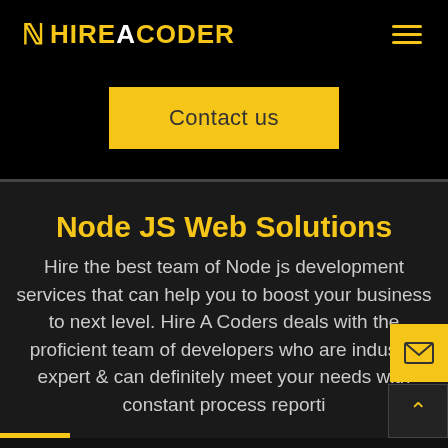N HIREACODER
Contact us
Node JS Web Solutions
Hire the best team of Node js development services that can help you to boost your business to next level. Hire A Coders deals with the proficient team of developers who are industry expert & can definitely meet your needs with constant process reporti